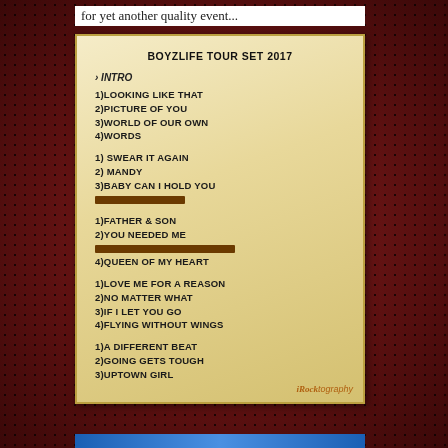for yet another quality event...
[Figure (photo): Photograph of a setlist paper for Boyzlife Tour Set 2017, listing songs in groups with some entries redacted]
iRoctography watermark